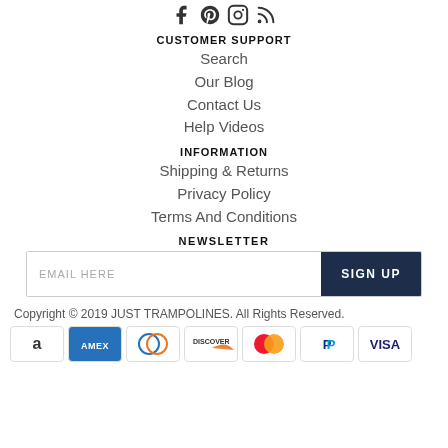[Figure (illustration): Social media icons: Facebook, Pinterest, Instagram, RSS feed]
CUSTOMER SUPPORT
Search
Our Blog
Contact Us
Help Videos
INFORMATION
Shipping & Returns
Privacy Policy
Terms And Conditions
NEWSLETTER
EMAIL HERE  SIGN UP
Copyright © 2019 JUST TRAMPOLINES. All Rights Reserved.
[Figure (logo): Payment method icons: Amazon, Amex, Diners Club, Discover, Mastercard, PayPal, Visa]